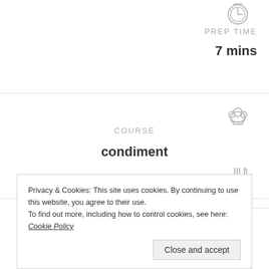PREP TIME
7 mins
COURSE
condiment
INGREDIENTS
1 egg room temperature
Privacy & Cookies: This site uses cookies. By continuing to use this website, you agree to their use.
To find out more, including how to control cookies, see here: Cookie Policy
Close and accept